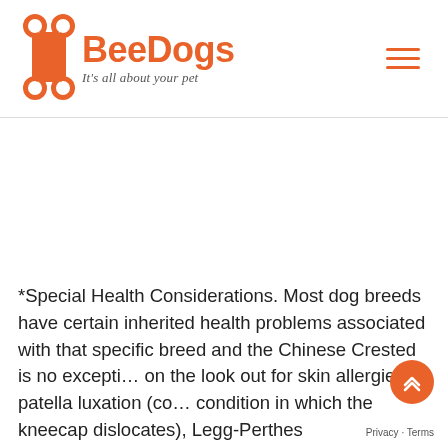BeeDogs - It's all about your pet
*Special Health Considerations. Most dog breeds have certain inherited health problems associated with that specific breed and the Chinese Crested is no exception, on the look out for skin allergies, patella luxation (condition in which the kneecap dislocates), Legg-Perthes